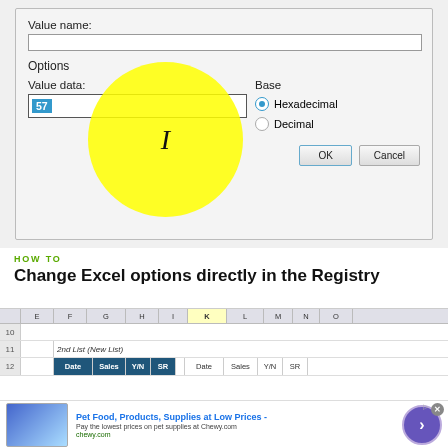[Figure (screenshot): Windows Registry Editor dialog box showing 'Value name', 'Options', and 'Value data' fields with '57' entered and highlighted in blue. Base options show Hexadecimal selected and Decimal unselected. A large yellow circle highlights the text cursor area. OK and Cancel buttons visible at bottom.]
HOW TO
Change Excel options directly in the Registry
[Figure (screenshot): Excel spreadsheet screenshot showing rows 10-12 with columns E through U visible. Row 11 shows '2nd List (New List)'. Row 12 shows header cells: 'Date', 'Sales', 'Y/N', 'SR' in dark blue, and 'Date', 'Sales', 'Y/N', 'SR' in a second group.]
[Figure (screenshot): Advertisement bar for Chewy.com: 'Pet Food, Products, Supplies at Low Prices - Pay the lowest prices on pet supplies at Chewy.com' with a purple arrow circle button on the right.]